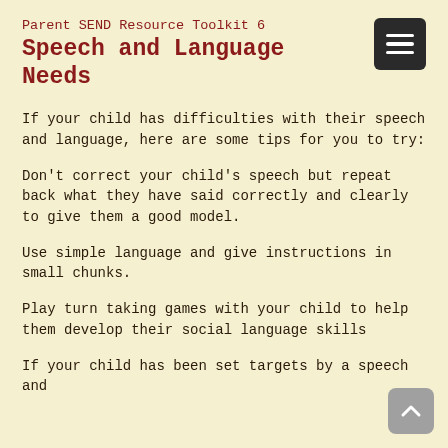Parent SEND Resource Toolkit 6
Speech and Language Needs
If your child has difficulties with their speech and language, here are some tips for you to try:
Don't correct your child's speech but repeat back what they have said correctly and clearly to give them a good model.
Use simple language and give instructions in small chunks.
Play turn taking games with your child to help them develop their social language skills
If your child has been set targets by a speech and